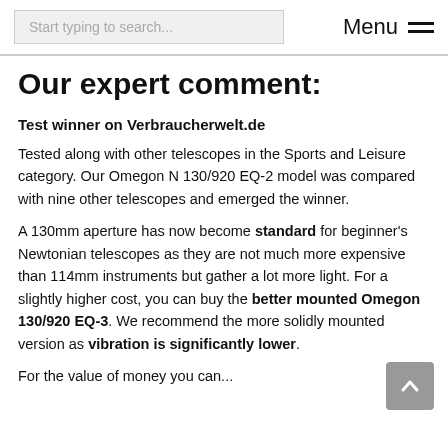Start typing to search...   Menu
Our expert comment:
Test winner on Verbraucherwelt.de
Tested along with other telescopes in the Sports and Leisure category. Our Omegon N 130/920 EQ-2 model was compared with nine other telescopes and emerged the winner.
A 130mm aperture has now become standard for beginner's Newtonian telescopes as they are not much more expensive than 114mm instruments but gather a lot more light. For a slightly higher cost, you can buy the better mounted Omegon 130/920 EQ-3. We recommend the more solidly mounted version as vibration is significantly lower.
For the value of money you can...